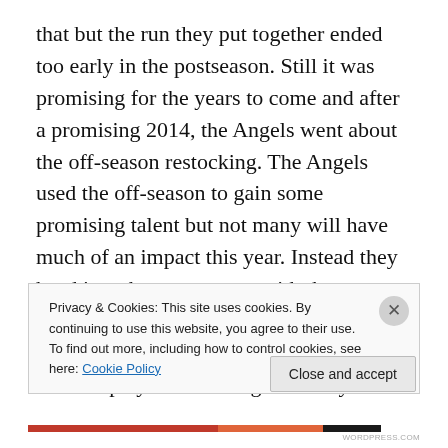that but the run they put together ended too early in the postseason. Still it was promising for the years to come and after a promising 2014, the Angels went about the off-season restocking. The Angels used the off-season to gain some promising talent but not many will have much of an impact this year. Instead they head into the new season with the same cast of characters. Leading the way is the AL MVP Mike Trout who continues to be the best player in the league in only four years in the MLB. Trout is joined by Albert Pujols and Eric Aybar to make up a fairly offensive group. That group had one more member up until a few
Privacy & Cookies: This site uses cookies. By continuing to use this website, you agree to their use.
To find out more, including how to control cookies, see here: Cookie Policy